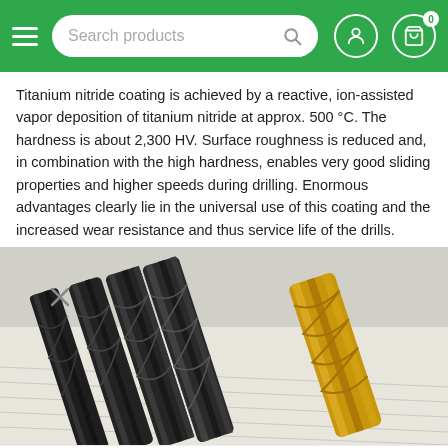Search products
Titanium nitride coating is achieved by a reactive, ion-assisted vapor deposition of titanium nitride at approx. 500 °C. The hardness is about 2,300 HV. Surface roughness is reduced and, in combination with the high hardness, enables very good sliding properties and higher speeds during drilling. Enormous advantages clearly lie in the universal use of this coating and the increased wear resistance and thus service life of the drills.
[Figure (photo): Photo of multiple drill bits — black/dark ones and one gold titanium-nitride coated drill bit — laid on a technical drawing surface.]
CHF29.90
Add to cart
Menu  Search  Cart  Wish list  Compare  Account